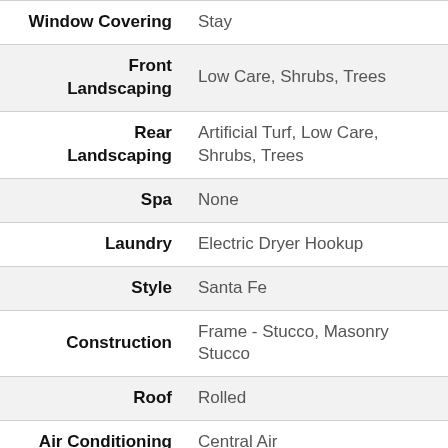| Property | Value |
| --- | --- |
| Window Covering | Stay |
| Front Landscaping | Low Care, Shrubs, Trees |
| Rear Landscaping | Artificial Turf, Low Care, Shrubs, Trees |
| Spa | None |
| Laundry | Electric Dryer Hookup |
| Style | Santa Fe |
| Construction | Frame - Stucco, Masonry Stucco |
| Roof | Rolled |
| Air Conditioning | Central Air |